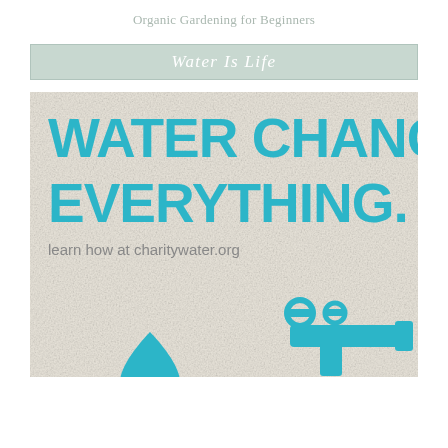Organic Gardening for Beginners
Water Is Life
[Figure (infographic): Charity Water infographic with large bold cyan text reading 'WATER CHANGES EVERYTHING.' followed by 'learn how at charitywater.org', with a water faucet icon at lower right and a water drop icon at lower left, on a light beige textured background.]